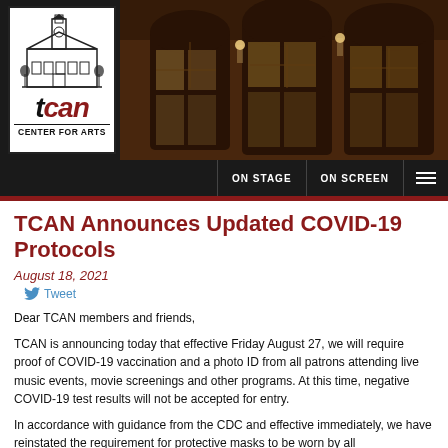[Figure (screenshot): TCAN Center for Arts website header with logo on left (black and white building sketch with 'tcan CENTER FOR ARTS' text) and a dark photo of a brick building with illuminated arched windows on the right. Navigation bar below with 'ON STAGE', 'ON SCREEN', and hamburger menu items on dark background. Red accent bar at bottom of header.]
TCAN Announces Updated COVID-19 Protocols
August 18, 2021
Tweet
Dear TCAN members and friends,
TCAN is announcing today that effective Friday August 27, we will require proof of COVID-19 vaccination and a photo ID from all patrons attending live music events, movie screenings and other programs. At this time, negative COVID-19 test results will not be accepted for entry.
In accordance with guidance from the CDC and effective immediately, we have reinstated the requirement for protective masks to be worn by all